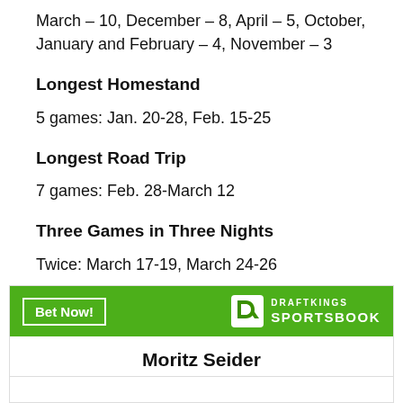March – 10, December – 8, April – 5, October, January and February – 4, November – 3
Longest Homestand
5 games: Jan. 20-28, Feb. 15-25
Longest Road Trip
7 games: Feb. 28-March 12
Three Games in Three Nights
Twice: March 17-19, March 24-26
[Figure (infographic): DraftKings Sportsbook advertisement banner with 'Bet Now!' button, DraftKings logo, and player name 'Moritz Seider']